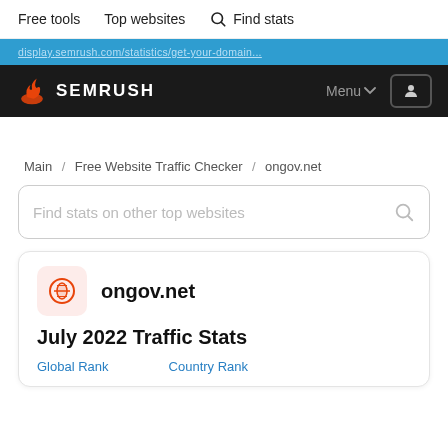Free tools   Top websites   🔍 Find stats
[promo banner text - partially visible URL]
SEMRUSH   Menu ∨   [user icon]
Main / Free Website Traffic Checker / ongov.net
Find stats on other top websites
ongov.net
July 2022 Traffic Stats
Global Rank   Country Rank